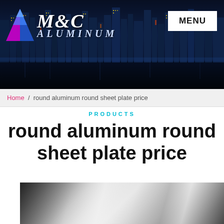[Figure (photo): M&C Aluminum company header banner with city skyline at night background, diamond logo in blue and purple, stylized M&C ALUMINUM text, and MENU button in top right]
Home / round aluminum round sheet plate price
PRODUCTS
round aluminum round sheet plate price
[Figure (photo): Close-up photo of shiny aluminum sheet plate with reflective metallic surface showing light and shadow gradients]